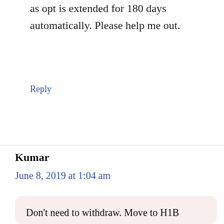as opt is extended for 180 days automatically. Please help me out.
Reply
Kumar
June 8, 2019 at 1:04 am
Don't need to withdraw. Move to H1B status, and then apply for extension from the same employer.
Well, if it was filed as COS, then discuss with your attorney to make sure the COS does not kick-in on October 1st and so that